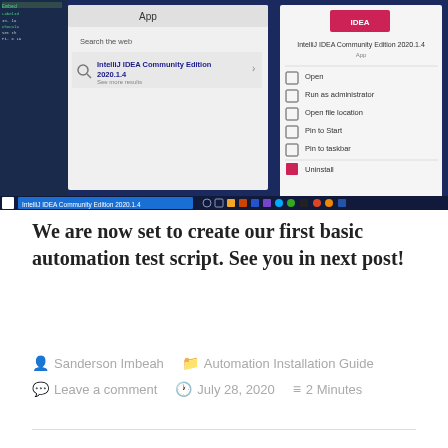[Figure (screenshot): Windows 10 Start menu search showing 'IntelliJ IDEA Community Edition 2020.1.4' with a right-click context menu showing options: Open, Run as administrator, Open file location, Pin to Start, Pin to taskbar, Uninstall. The taskbar at the bottom shows the search bar with 'IntelliJ IDEA Community Edition 2020.1.4' typed in.]
We are now set to create our first basic automation test script. See you in next post!
Sanderson Imbeah   Automation Installation Guide   Leave a comment   July 28, 2020   2 Minutes